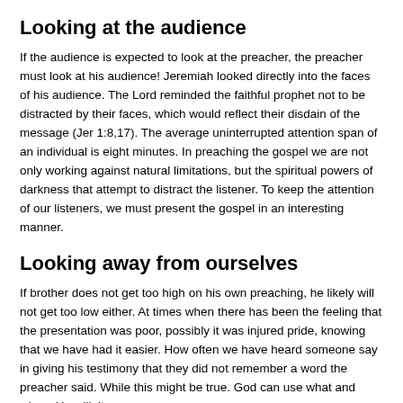Looking at the audience
If the audience is expected to look at the preacher, the preacher must look at his audience! Jeremiah looked directly into the faces of his audience. The Lord reminded the faithful prophet not to be distracted by their faces, which would reflect their disdain of the message (Jer 1:8,17). The average uninterrupted attention span of an individual is eight minutes. In preaching the gospel we are not only working against natural limitations, but the spiritual powers of darkness that attempt to distract the listener. To keep the attention of our listeners, we must present the gospel in an interesting manner.
Looking away from ourselves
If brother does not get too high on his own preaching, he likely will not get too low either. At times when there has been the feeling that the presentation was poor, possibly it was injured pride, knowing that we have had it easier. How often we have heard someone say in giving his testimony that they did not remember a word the preacher said. While this might be true. God can use what and whom He will; it